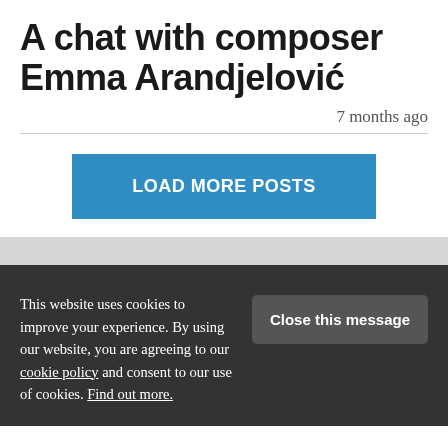A chat with composer Emma Arandjelović
7 months ago
LOAD MORE POSTS
This website uses cookies to improve your experience. By using our website, you are agreeing to our cookie policy and consent to our use of cookies. Find out more.
Close this message